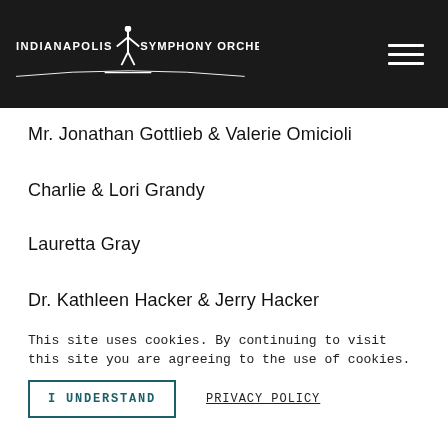Indianapolis Symphony Orchestra
Mr. Jonathan Gottlieb & Valerie Omicioli
Charlie & Lori Grandy
Lauretta Gray
Dr. Kathleen Hacker & Jerry Hacker
Mr. Jerome T. Henning
This site uses cookies. By continuing to visit this site you are agreeing to the use of cookies.
I UNDERSTAND
PRIVACY POLICY